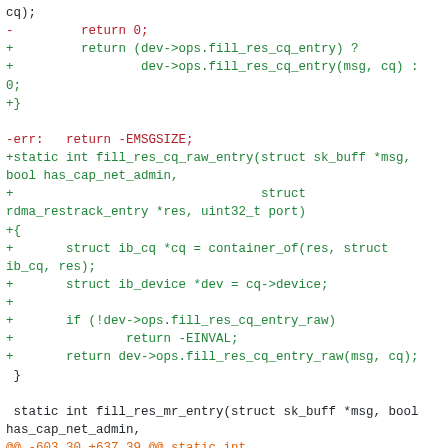Code diff showing modifications to fill_res_cq and fill_res_cq_raw_entry functions in a Linux kernel RDMA networking module